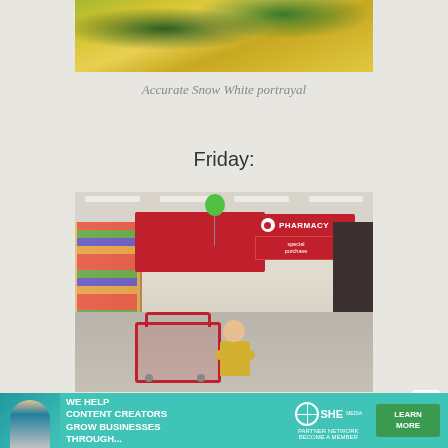[Figure (photo): Close-up photo of yellow-green fabric or petals, partially cropped at top of page]
Accurate Snow White portrayal
Friday:
[Figure (photo): Interior of a Target store showing the pharmacy sign, red shopping cart with a young girl in a yellow dress, store shelves with products, and a green balloon floating near ceiling]
[Figure (other): Advertisement banner: 'WE HELP CONTENT CREATORS GROW BUSINESSES THROUGH...' with SHE Media Partner Network logo and a LEARN MORE button]